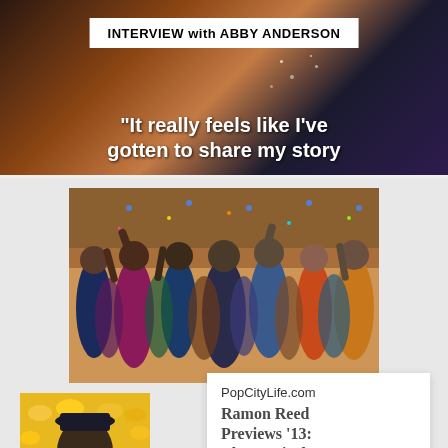[Figure (photo): Interview with Abby Anderson - dark background with orange/warm tones, interview badge overlay, quote text below]
INTERVIEW with ABBY ANDERSON
"It really feels like I've gotten to share my story
[Figure (photo): Group cast photo of teens celebrating at what appears to be a prom or party, arms raised, colorful outfits]
[Figure (photo): Portrait of young Black male actor with glasses in front of yellow flowers/foliage]
PopCityLife.com
Ramon Reed Previews '13: The Musical'
"Fans can expect to add an amazing soundtrack